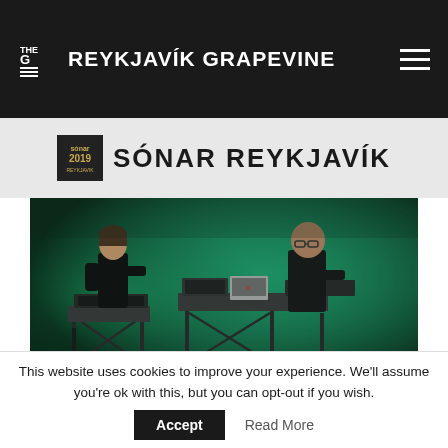THE G REYKJAVIK GRAPEVINE
SÓNAR REYKJAVÍK
[Figure (photo): Two musicians performing on stage with green atmospheric lighting and smoke. One person on the left with short hair and one on the right wearing glasses, both working at tables with electronic music equipment including synthesizers and laptops.]
This website uses cookies to improve your experience. We'll assume you're ok with this, but you can opt-out if you wish.
Accept  Read More